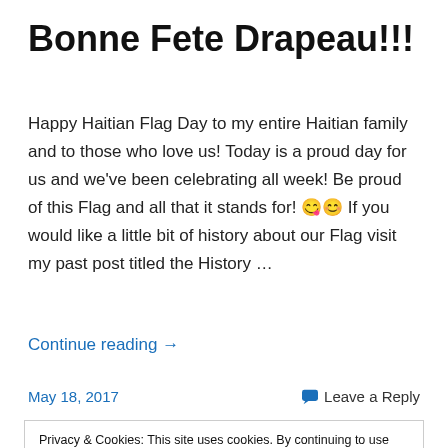Bonne Fete Drapeau!!!
Happy Haitian Flag Day to my entire Haitian family and to those who love us! Today is a proud day for us and we've been celebrating all week! Be proud of this Flag and all that it stands for! 😊😊 If you would like a little bit of history about our Flag visit my past post titled the History …
Continue reading →
May 18, 2017    💬 Leave a Reply
Privacy & Cookies: This site uses cookies. By continuing to use this website, you agree to their use.
To find out more, including how to control cookies, see here: Cookie Policy
Close and accept
insight on the history of this beautiful flag! The Haitian flag…